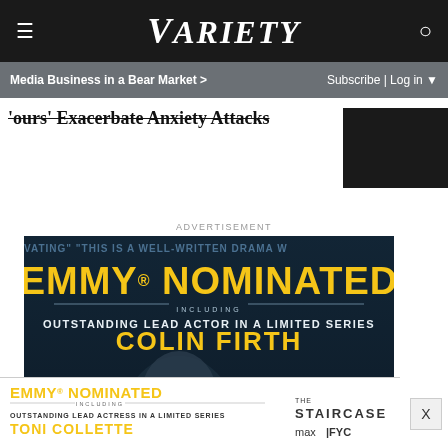VARIETY
Media Business in a Bear Market >
Subscribe | Log in ▼
'ours'  Exacerbate Anxiety Attacks
ADVERTISEMENT
[Figure (photo): Emmy Nominated advertisement for The Staircase on HBO Max / Max FYC. Features Colin Firth - Outstanding Lead Actor in a Limited Series. Text overlays with critic quotes about the show. max|FYC branding and NOW STREAMING HBOmax logo at bottom.]
[Figure (photo): Bottom banner ad for The Staircase on Max FYC. Emmy Nominated - Outstanding Lead Actress in a Limited Series - Toni Collette.]